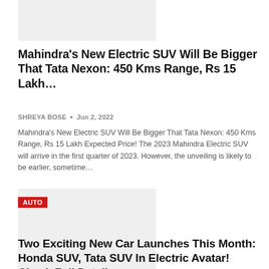[Figure (photo): Top article image placeholder (light gray rectangle)]
Mahindra's New Electric SUV Will Be Bigger That Tata Nexon: 450 Kms Range, Rs 15 Lakh…
SHREYA BOSE • Jun 2, 2022
Mahindra's New Electric SUV Will Be Bigger That Tata Nexon: 450 Kms Range, Rs 15 Lakh Expected Price! The 2023 Mahindra Electric SUV will arrive in the first quarter of 2023. However, the unveiling is likely to be earlier, sometime…
[Figure (photo): Bottom article image placeholder with AUTO category badge (light gray rectangle)]
Two Exciting New Car Launches This Month: Honda SUV, Tata SUV In Electric Avatar! Check Full Details